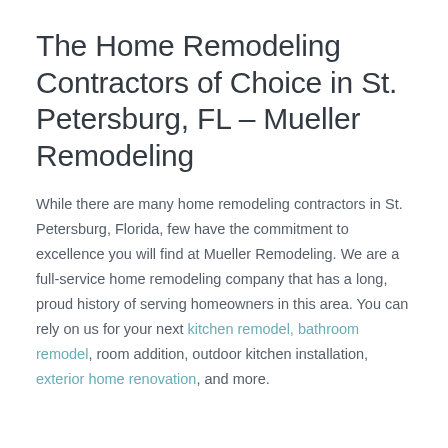The Home Remodeling Contractors of Choice in St. Petersburg, FL – Mueller Remodeling
While there are many home remodeling contractors in St. Petersburg, Florida, few have the commitment to excellence you will find at Mueller Remodeling. We are a full-service home remodeling company that has a long, proud history of serving homeowners in this area. You can rely on us for your next kitchen remodel, bathroom remodel, room addition, outdoor kitchen installation, exterior home renovation, and more.